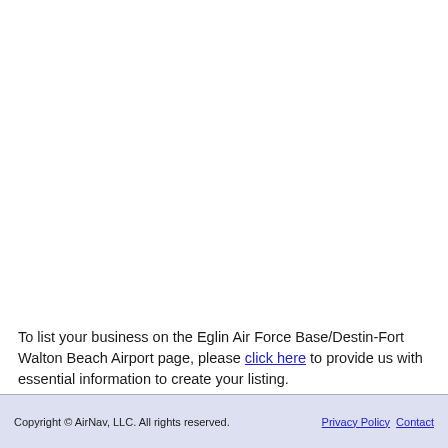To list your business on the Eglin Air Force Base/Destin-Fort Walton Beach Airport page, please click here to provide us with essential information to create your listing.
Copyright © AirNav, LLC. All rights reserved.   Privacy Policy   Contact